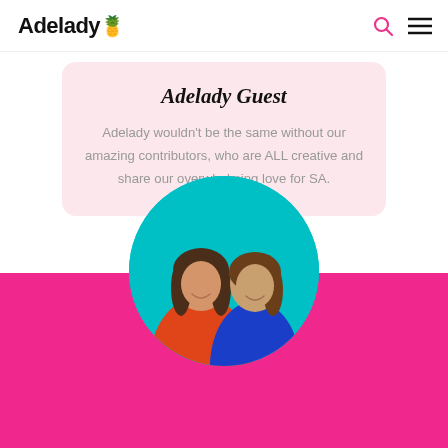Adelady 🍍
Adelady Guest
Adelady wouldn't be the same without our amazing contributors, who are ALL creative and share our overwhelming love for SA.
[Figure (photo): Two smiling women, one in an orange dress and one in a blue dress, posed together against a teal/cyan circular background, with a pink banner background below.]